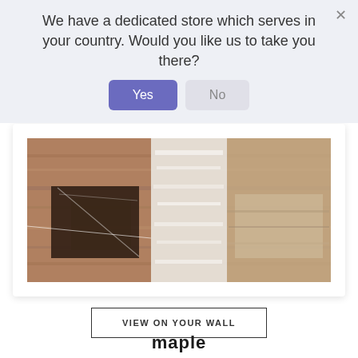We have a dedicated store which serves in your country. Would you like us to take you there?
[Figure (photo): Abstract painting with brown, black, white and beige brushstroke textures — card with painting shown in a product viewer]
VIEW ON YOUR WALL
maple